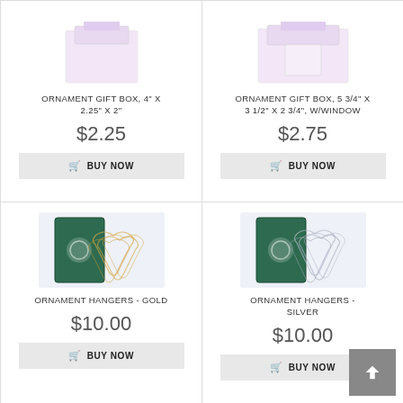[Figure (photo): Product image of ornament gift box, pink/lavender colored box]
ORNAMENT GIFT BOX, 4" X 2.25" X 2"
$2.25
BUY NOW
[Figure (photo): Product image of ornament gift box with window, pink/lavender colored box]
ORNAMENT GIFT BOX, 5 3/4" X 3 1/2" X 2 3/4", W/WINDOW
$2.75
BUY NOW
[Figure (photo): Product image of ornament hangers gold - green package with gold wire hangers scattered]
ORNAMENT HANGERS - GOLD
$10.00
BUY NOW
[Figure (photo): Product image of ornament hangers silver - green package with silver wire hangers scattered]
ORNAMENT HANGERS - SILVER
$10.00
BUY NOW